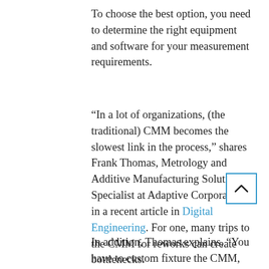To choose the best option, you need to determine the right equipment and software for your measurement requirements.
“In a lot of organizations, (the traditional) CMM becomes the slowest link in the process,” shares Frank Thomas, Metrology and Additive Manufacturing Solution Specialist at Adaptive Corporation in a recent article in Digital Engineering. For one, many trips to the CMM for reworks can create bottlenecks.
In addition, Thomas explains, “You have to custom fixture the CMM, and there is